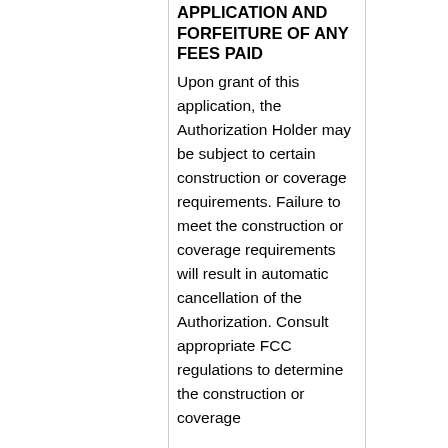APPLICATION AND FORFEITURE OF ANY FEES PAID
Upon grant of this application, the Authorization Holder may be subject to certain construction or coverage requirements. Failure to meet the construction or coverage requirements will result in automatic cancellation of the Authorization. Consult appropriate FCC regulations to determine the construction or coverage